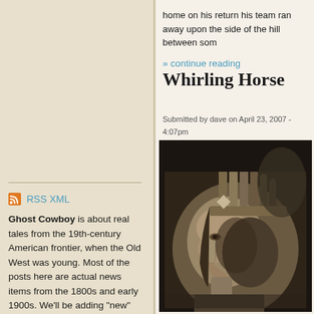home on his return his team ran away upon the side of the hill between som
» continue reading
Whirling Horse
Submitted by dave on April 23, 2007 - 4:07pm
Tags: 1893
[Figure (photo): Sepia-toned portrait photograph of a Native American man in profile, wearing traditional headdress with cylindrical hair ornaments/rollers and a beaded headband]
RSS XML
Ghost Cowboy is about real tales from the 19th-century American frontier, when the Old West was young. Most of the posts here are actual news items from the 1800s and early 1900s. We'll be adding "new" content every week. Travel with us and sign up for an account, and you'll be able to leave comments and post in our forums. Your trailmasters, Ken in Alabama and Dave